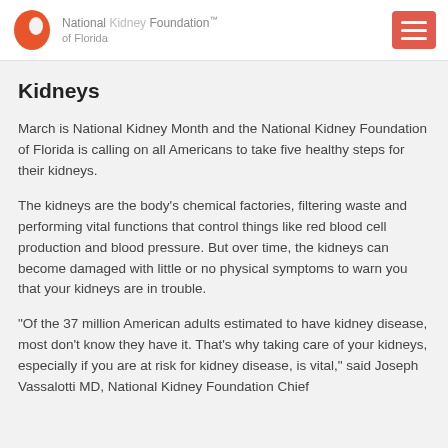National Kidney Foundation of Florida
Kidneys
March is National Kidney Month and the National Kidney Foundation of Florida is calling on all Americans to take five healthy steps for their kidneys.
The kidneys are the body’s chemical factories, filtering waste and performing vital functions that control things like red blood cell production and blood pressure. But over time, the kidneys can become damaged with little or no physical symptoms to warn you that your kidneys are in trouble.
“Of the 37 million American adults estimated to have kidney disease, most don’t know they have it. That’s why taking care of your kidneys, especially if you are at risk for kidney disease, is vital,” said Joseph Vassalotti MD, National Kidney Foundation Chief